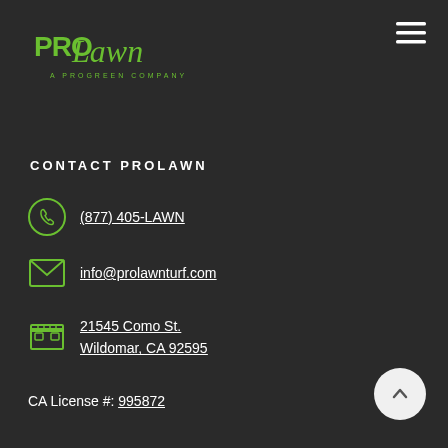[Figure (logo): ProLawn - A ProGreen Company logo in green on dark background]
CONTACT PROLAWN
(877) 405-LAWN
info@prolawnturf.com
21545 Como St. Wildomar, CA 92595
CA License #: 995872